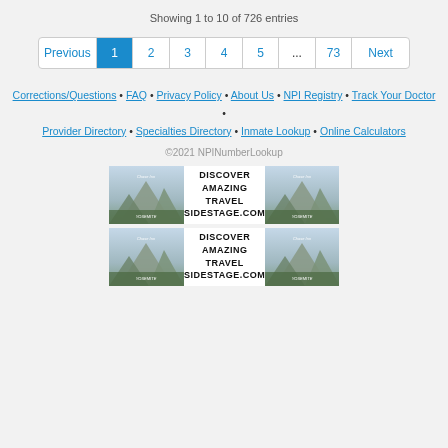Showing 1 to 10 of 726 entries
Previous 1 2 3 4 5 ... 73 Next
Corrections/Questions • FAQ • Privacy Policy • About Us • NPI Registry • Track Your Doctor • Provider Directory • Specialties Directory • Inmate Lookup • Online Calculators
©2021 NPINumberLookup
[Figure (screenshot): Advertisement banner showing Yosemite travel ad for sidestage.com, appears twice in two rows]
[Figure (screenshot): Advertisement banner showing Yosemite travel ad for sidestage.com, second row duplicate]